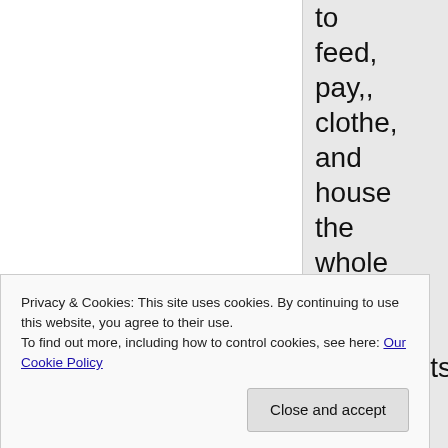to feed, pay,, clothe, and house the whole world of immigrants"
My
Privacy & Cookies: This site uses cookies. By continuing to use this website, you agree to their use.
To find out more, including how to control cookies, see here: Our Cookie Policy